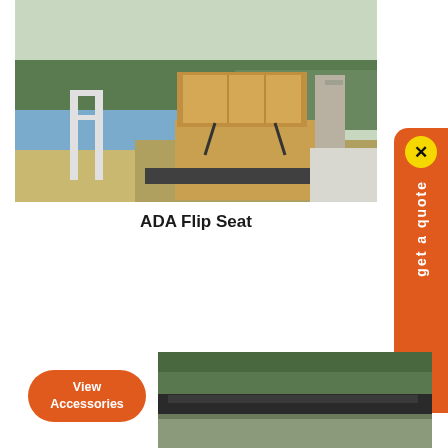[Figure (photo): Photo of an ADA Flip Seat installed on a boat deck, tan/beige upholstered fold-down seat with seatbelt straps, aluminum railing visible on left, water and trees in background]
ADA Flip Seat
[Figure (photo): Partial photo of a boat with a dark roof/canopy, trees in background]
View Accessories
get a quote